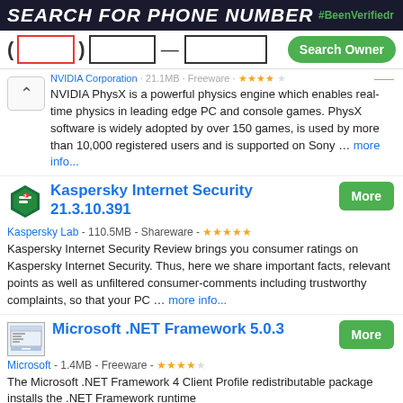SEARCH FOR PHONE NUMBER
[Figure (screenshot): Phone number search bar with area code box (red border), middle box, dash, last box, and green Search Owner button]
NVIDIA Corporation · 21.1MB · Freeware · [stars] NVIDIA PhysX is a powerful physics engine which enables real-time physics in leading edge PC and console games. PhysX software is widely adopted by over 150 games, is used by more than 10,000 registered users and is supported on Sony … more info...
Kaspersky Internet Security 21.3.10.391
Kaspersky Lab - 110.5MB - Shareware - [5 stars]
Kaspersky Internet Security Review brings you consumer ratings on Kaspersky Internet Security. Thus, here we share important facts, relevant points as well as unfiltered consumer-comments including trustworthy complaints, so that your PC … more info...
Microsoft .NET Framework 5.0.3
Microsoft - 1.4MB - Freeware - [4 stars]
The Microsoft .NET Framework 4 Client Profile redistributable package installs the .NET Framework runtime